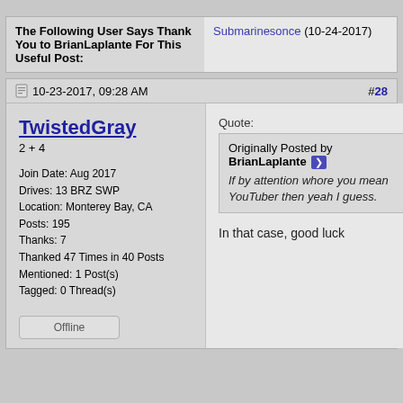| The Following User Says Thank You to BrianLaplante For This Useful Post: |  |
| --- | --- |
|  | Submarinesonce (10-24-2017) |
10-23-2017, 09:28 AM   #28
TwistedGray
2 + 4
Join Date: Aug 2017
Drives: 13 BRZ SWP
Location: Monterey Bay, CA
Posts: 195
Thanks: 7
Thanked 47 Times in 40 Posts
Mentioned: 1 Post(s)
Tagged: 0 Thread(s)
Offline
Quote:
Originally Posted by BrianLaplante
If by attention whore you mean YouTuber then yeah I guess.

In that case, good luck